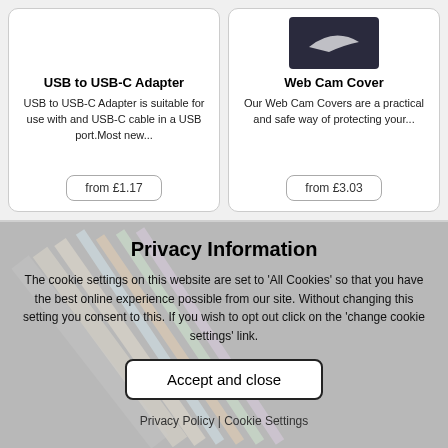USB to USB-C Adapter
USB to USB-C Adapter is suitable for use with and USB-C cable in a USB port.Most new...
from £1.17
Web Cam Cover
Our Web Cam Covers are a practical and safe way of protecting your...
from £3.03
Privacy Information
The cookie settings on this website are set to 'All Cookies' so that you have the best online experience possible from our site. Without changing this setting you consent to this. If you wish to opt out click on the 'change cookie settings' link.
Accept and close
Privacy Policy | Cookie Settings